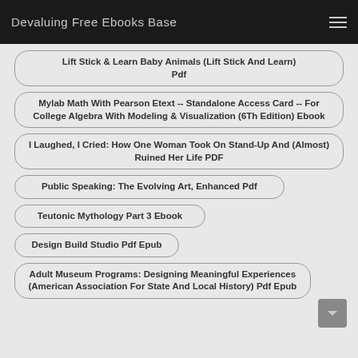Devaluing Free Ebooks Base
Lift Stick & Learn Baby Animals (Lift Stick And Learn) Pdf
Mylab Math With Pearson Etext -- Standalone Access Card -- For College Algebra With Modeling & Visualization (6Th Edition) Ebook
I Laughed, I Cried: How One Woman Took On Stand-Up And (Almost) Ruined Her Life PDF
Public Speaking: The Evolving Art, Enhanced Pdf
Teutonic Mythology Part 3 Ebook
Design Build Studio Pdf Epub
Adult Museum Programs: Designing Meaningful Experiences (American Association For State And Local History) Pdf Epub